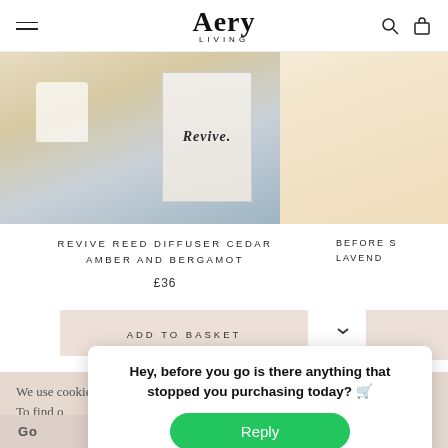Aery Living
[Figure (photo): Product photo showing Revive reed diffuser and box on cream background, partially cropped on right showing another product]
REVIVE REED DIFFUSER CEDAR AMBER AND BERGAMOT
£36
BEFORE S LAVEND
ADD TO BASKET
We use cookies to improve your experience website. To find o
Hey, before you go is there anything that stopped you purchasing today? 🛒
Reply
Go